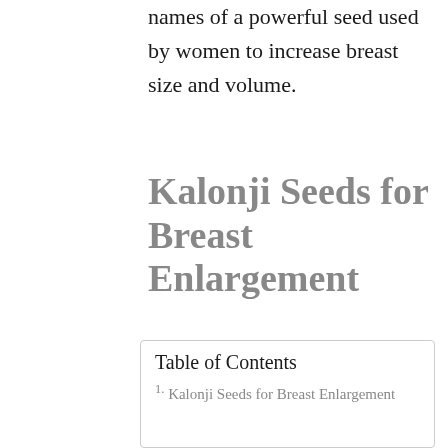names of a powerful seed used by women to increase breast size and volume.
Kalonji Seeds for Breast Enlargement
Table of Contents
1. Kalonji Seeds for Breast Enlargement